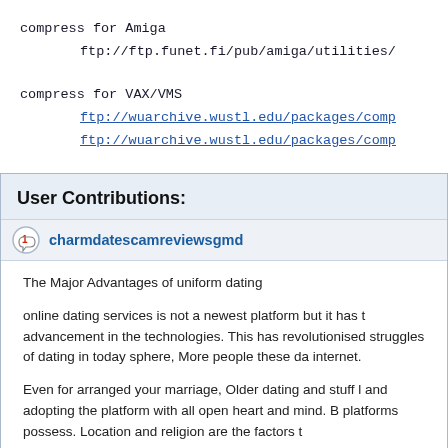compress for Amiga
    ftp://ftp.funet.fi/pub/amiga/utilities/
compress for VAX/VMS
    ftp://wuarchive.wustl.edu/packages/comp
    ftp://wuarchive.wustl.edu/packages/comp
User Contributions:
charmdatescamreviewsgmd
The Major Advantages of uniform dating
online dating services is not a newest platform but it has t advancement in the technologies. This has revolutionised struggles of dating in today sphere, More people these da internet.
Even for arranged your marriage, Older dating and stuff l and adopting the platform with all open heart and mind. B platforms possess. Location and religion are the factors t